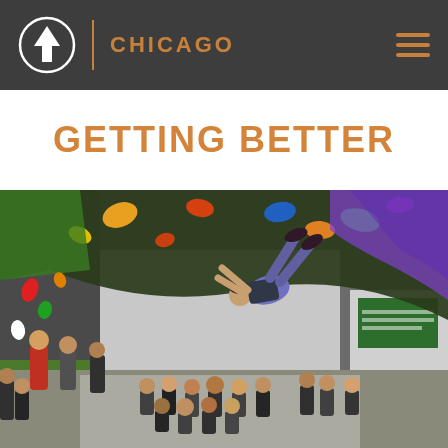CHICAGO
GETTING BETTER
[Figure (photo): Indoor rock climbing gym photo: a climber hanging upside down on an overhanging bouldering wall with colorful holds, while a crowd of people sit and stand on the gym floor below watching. The gym has a large bouldering wall with green padding, industrial ceiling, and a green sign on the right wall.]